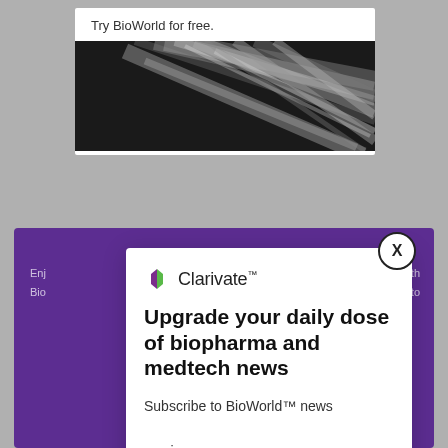[Figure (screenshot): Top banner card with 'Try BioWorld for free.' text and a black-and-white abstract feather/paper texture image]
[Figure (screenshot): Purple background overlay for modal dialog with partial text 'Enjoy... with BioW... easy to']
[Figure (logo): Clarivate logo with hexagonal icon in purple and green]
Upgrade your daily dose of biopharma and medtech news
Subscribe to BioWorld™ news services